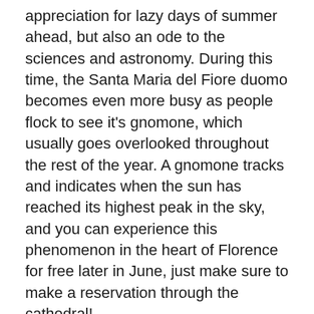appreciation for lazy days of summer ahead, but also an ode to the sciences and astronomy. During this time, the Santa Maria del Fiore duomo becomes even more busy as people flock to see it's gnomone, which usually goes overlooked throughout the rest of the year. A gnomone tracks and indicates when the sun has reached its highest peak in the sky, and you can experience this phenomenon in the heart of Florence for free later in June, just make sure to make a reservation through the cathedral!
Feast of St. John
And the Feast of St. John is one of the biggest events in Florence all year. Come the 24th of June, the city's normal hustle and bustle turns into an extravagant musical where the historic center and fireworks are